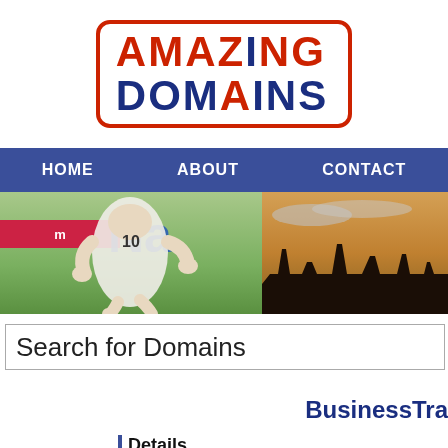[Figure (logo): Amazing Domains logo with red border, AMAZING in red/blue and DOMAINS in blue]
HOME   ABOUT   CONTACT
[Figure (photo): Two images side by side: left shows a soccer player with number 10 jersey running, right shows London skyline at dusk]
Search for Domains
BusinessTra
Details
Do Na...